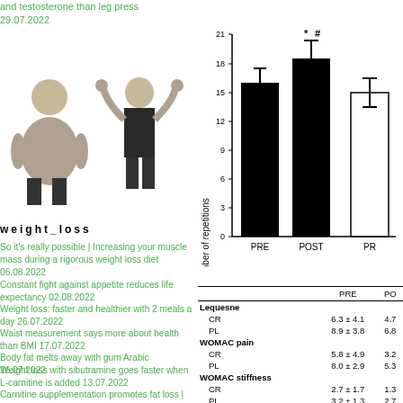and testosterone than leg press 29.07.2022
[Figure (photo): Two people: one overweight person and one muscular person posing]
weight_loss
So it's really possible | Increasing your muscle mass during a rigorous weight loss diet 06.08.2022
Constant fight against appetite reduces life expectancy 02.08.2022
Weight loss: faster and healthier with 2 meals a day 26.07.2022
Waist measurement says more about health than BMI 17.07.2022
Body fat melts away with gum Arabic 16.07.2022
Weight loss with sibutramine goes faster when L-carnitine is added 13.07.2022
Carnitine supplementation promotes fat loss | Meta-study 11.07.2022
Blackcurrant extract increases fat oxidation during moderate intensity
[Figure (bar-chart): Number of repetitions]
|  | PRE | PO |
| --- | --- | --- |
| Lequesne |  |  |
|   CR | 6.3 ± 4.1 | 4.7 |
|   PL | 8.9 ± 3.8 | 6.8 |
| WOMAC pain |  |  |
|   CR | 5.8 ± 4.9 | 3.2 |
|   PL | 8.0 ± 2.9 | 5.3 |
| WOMAC stiffness |  |  |
|   CR | 2.7 ± 1.7 | 1.3 |
|   PL | 3.2 ± 1.3 | 2.7 |